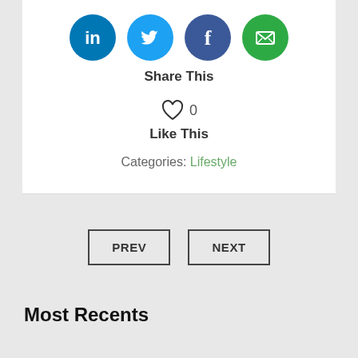[Figure (infographic): Social media share icons: LinkedIn (blue circle), Twitter (light blue circle), Facebook (dark blue circle), Email (green circle)]
Share This
[Figure (infographic): Heart outline icon with count 0]
Like This
Categories: Lifestyle
PREV
NEXT
Most Recents